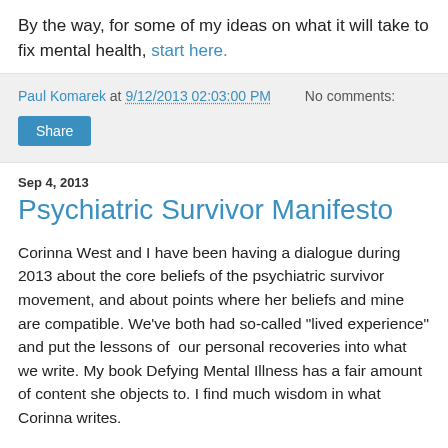By the way, for some of my ideas on what it will take to fix mental health, start here.
Paul Komarek at 9/12/2013 02:03:00 PM   No comments:
Share
Sep 4, 2013
Psychiatric Survivor Manifesto
Corinna West and I have been having a dialogue during 2013 about the core beliefs of the psychiatric survivor movement, and about points where her beliefs and mine are compatible. We've both had so-called "lived experience" and put the lessons of  our personal recoveries into what we write. My book Defying Mental Illness has a fair amount of content she objects to. I find much wisdom in what Corinna writes.
Corinna has just written a piece that tries to express the